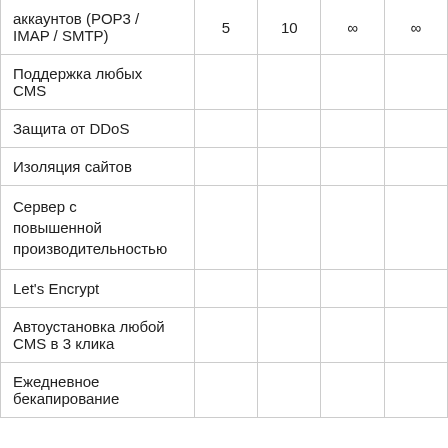| Функция |  |  |  |  |
| --- | --- | --- | --- | --- |
| аккаунтов (POP3 / IMAP / SMTP) | 5 | 10 | ∞ | ∞ |
| Поддержка любых CMS |  |  |  |  |
| Защита от DDoS |  |  |  |  |
| Изоляция сайтов |  |  |  |  |
| Сервер с повышенной производительностью |  |  |  |  |
| Let's Encrypt |  |  |  |  |
| Автоустановка любой CMS в 3 клика |  |  |  |  |
| Ежедневное бекапирование |  |  |  |  |